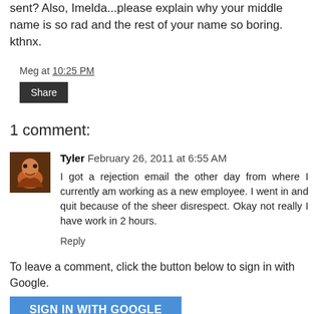sent? Also, Imelda...please explain why your middle name is so rad and the rest of your name so boring. kthnx.
Meg at 10:25 PM
Share
1 comment:
Tyler  February 26, 2011 at 6:55 AM
I got a rejection email the other day from where I currently am working as a new employee. I went in and quit because of the sheer disrespect. Okay not really I have work in 2 hours.
Reply
To leave a comment, click the button below to sign in with Google.
SIGN IN WITH GOOGLE